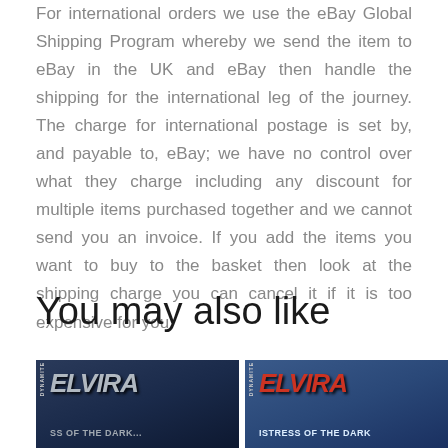For international orders we use the eBay Global Shipping Program whereby we send the item to eBay in the UK and eBay then handle the shipping for the international leg of the journey. The charge for international postage is set by, and payable to, eBay; we have no control over what they charge including any discount for multiple items purchased together and we cannot send you an invoice. If you add the items you want to buy to the basket then look at the shipping charge you can cancel it if it is too expensive for you.
You may also like
[Figure (photo): Elvira Mistress of the Dark comic book cover - left thumbnail, dark blue background]
[Figure (photo): Elvira Mistress of the Dark comic book cover - right thumbnail, blue background with red title text]